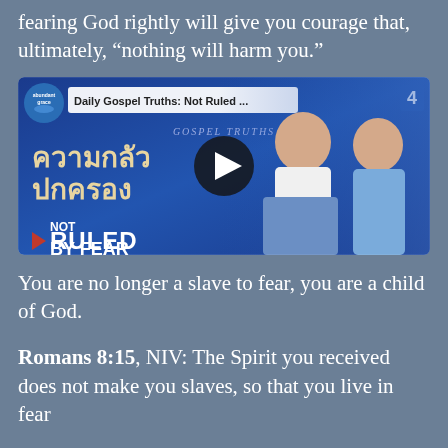fearing God rightly will give you courage that, ultimately, “nothing will harm you.”
[Figure (screenshot): YouTube video thumbnail showing two people seated in front of a blue backdrop with Thai text and 'NOT RULED BY FEAR'. Video title reads 'Daily Gospel Truths: Not Ruled ...' with Abundant Grace logo and channel number 4.]
You are no longer a slave to fear, you are a child of God.
Romans 8:15, NIV: The Spirit you received does not make you slaves, so that you live in fear